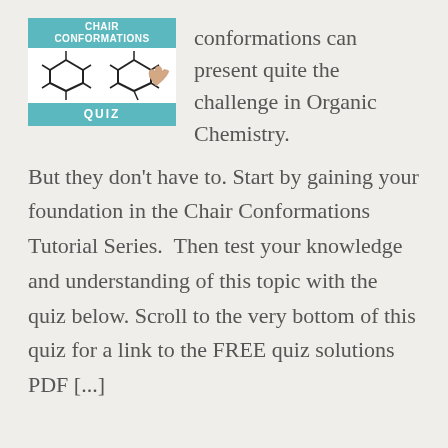[Figure (illustration): Book cover for 'Chair Conformations Quiz' showing molecular diagrams of chair conformations on a teal/white background with the text 'CHAIR CONFORMATIONS' at the top and 'QUIZ' at the bottom.]
conformations can present quite the challenge in Organic Chemistry. But they don't have to. Start by gaining your foundation in the Chair Conformations Tutorial Series.  Then test your knowledge and understanding of this topic with the quiz below. Scroll to the very bottom of this quiz for a link to the FREE quiz solutions PDF [...]